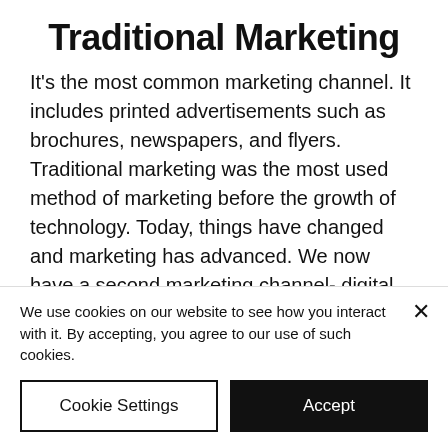Traditional Marketing
It's the most common marketing channel. It includes printed advertisements such as brochures, newspapers, and flyers. Traditional marketing was the most used method of marketing before the growth of technology. Today, things have changed and marketing has advanced. We now have a second marketing channel- digital marketing.
Now that you remember the two main
We use cookies on our website to see how you interact with it. By accepting, you agree to our use of such cookies.